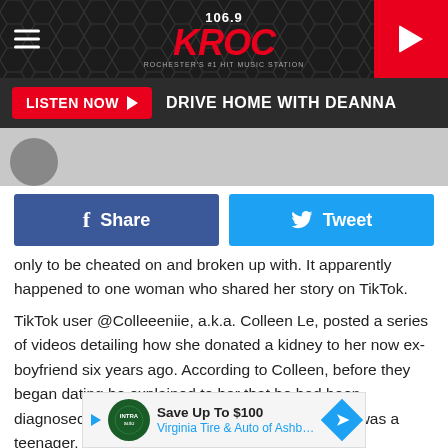106.9 KROC — DRIVE HOME WITH DEANNA
[Figure (screenshot): Social share buttons: Facebook Share (dark blue) and Tweet (light blue)]
only to be cheated on and broken up with. It apparently happened to one woman who shared her story on TikTok.
TikTok user @Colleeeniie, a.k.a. Colleen Le, posted a series of videos detailing how she donated a kidney to her now ex-boyfriend six years ago. According to Colleen, before they began dating he explained to her that he had been diagnosed with a chronic kidney disease when he was a teenager.
[Figure (screenshot): Advertisement banner: Save Up To $100 — Virginia Tire & Auto of Ashburn ...]